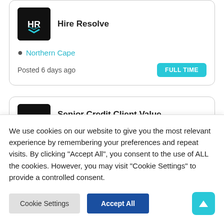[Figure (logo): Hire Resolve HR logo on black background]
Hire Resolve
Northern Cape
Posted 6 days ago
FULL TIME
[Figure (logo): Hire Resolve HR logo on black background]
Senior Credit Client Value Specialist
We use cookies on our website to give you the most relevant experience by remembering your preferences and repeat visits. By clicking "Accept All", you consent to the use of ALL the cookies. However, you may visit "Cookie Settings" to provide a controlled consent.
Cookie Settings
Accept All